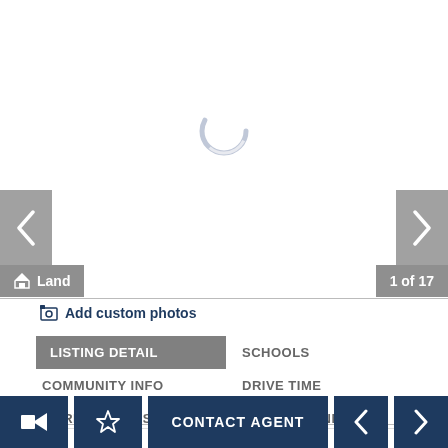[Figure (screenshot): Real estate listing app screenshot showing image carousel area with loading spinner, left and right navigation arrows, Land badge, and 1 of 17 counter]
Land
1 of 17
Add custom photos
LISTING DETAIL
SCHOOLS
COMMUNITY INFO
DRIVE TIME
MARKET STATISTICS
ROUTE PLANNER
CONTACT AGENT